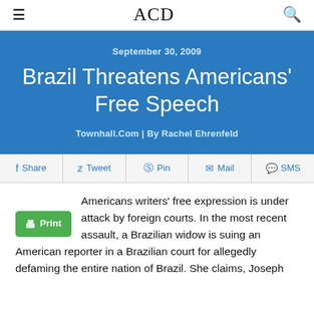ACD
Brazil Threatens Americans' Free Speech
September 30, 2009
Townhall.Com | By Rachel Ehrenfeld
Share  Tweet  Pin  Mail  SMS
Americans writers' free expression is under attack by foreign courts. In the most recent assault, a Brazilian widow is suing an American reporter in a Brazilian court for allegedly defaming the entire nation of Brazil. She claims, Joseph